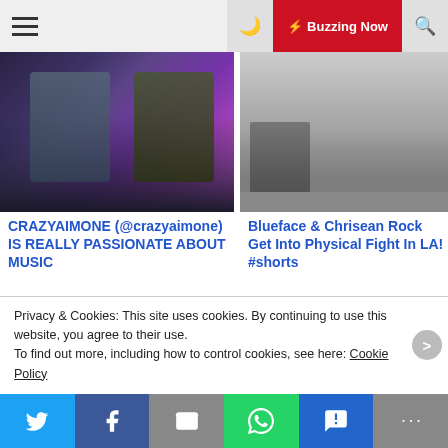☰ 🌙 ⚡ Buzzing Now 🔍
[Figure (photo): Masked person in green clothing with purple fire background - top left thumbnail]
[Figure (photo): People's feet and legs in a hallway - top right thumbnail]
CRAZYAIMONE (@crazyaimone) IS REALLY PASSIONATE ABOUT MUSIC
Blueface & Chrisean Rock Get Into Physical Fight In LA! #shorts
[Figure (photo): Dark background with red glowing text reading YBUZ - bottom left thumbnail]
[Figure (photo): PAW Patrol cartoon characters Chase and Skye with text They're All DEAD! - bottom right thumbnail]
Harley Dean Says T.I.
Film Theory: Paw Patrol
Privacy & Cookies: This site uses cookies. By continuing to use this website, you agree to their use.
To find out more, including how to control cookies, see here: Cookie Policy
Twitter | Facebook | Email | WhatsApp | SMS | More